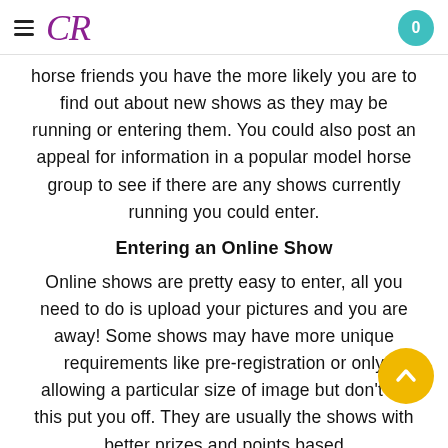CR | 0
horse friends you have the more likely you are to find out about new shows as they may be running or entering them. You could also post an appeal for information in a popular model horse group to see if there are any shows currently running you could enter.
Entering an Online Show
Online shows are pretty easy to enter, all you need to do is upload your pictures and you are away! Some shows may have more unique requirements like pre-registration or only allowing a particular size of image but don't let this put you off. They are usually the shows with better prizes and points based